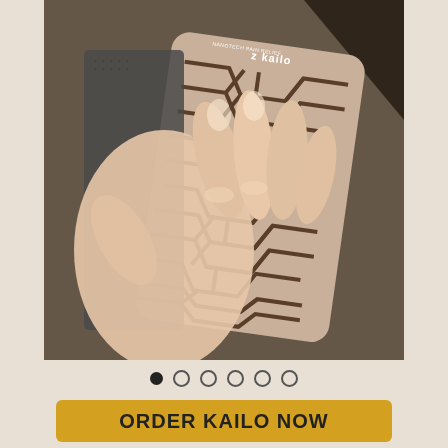[Figure (photo): A hand holding a Kailo pain relief patch — a card-sized device with a geometric tan and dark brown interlocking pattern on its surface, backed with dark gray fabric with velcro-like texture. The Kailo logo is visible in white at the top of the patch.]
[Figure (infographic): Carousel pagination dots: one filled black circle followed by five empty/outline circles, indicating the first slide of six is selected.]
ORDER KAILO NOW